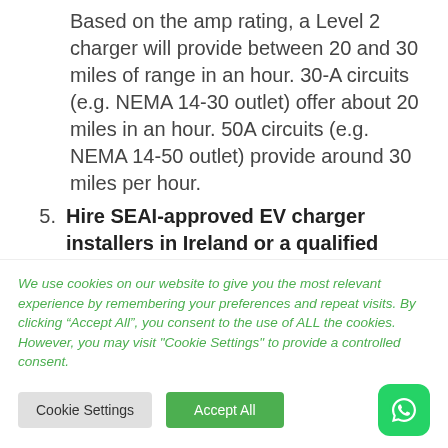Based on the amp rating, a Level 2 charger will provide between 20 and 30 miles of range in an hour. 30-A circuits (e.g. NEMA 14-30 outlet) offer about 20 miles in an hour. 50A circuits (e.g. NEMA 14-50 outlet) provide around 30 miles per hour.
5. Hire SEAI-approved EV charger installers in Ireland or a qualified
We use cookies on our website to give you the most relevant experience by remembering your preferences and repeat visits. By clicking "Accept All", you consent to the use of ALL the cookies. However, you may visit "Cookie Settings" to provide a controlled consent.